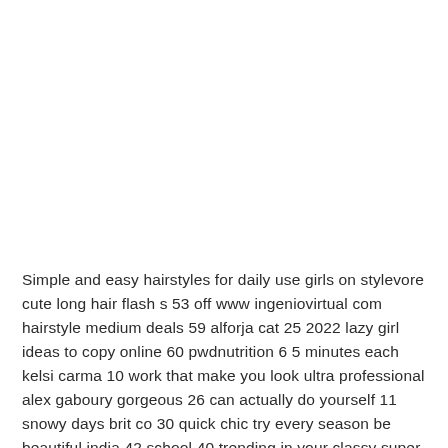Simple and easy hairstyles for daily use girls on stylevore cute long hair flash s 53 off www ingeniovirtual com hairstyle medium deals 59 alforja cat 25 2022 lazy girl ideas to copy online 60 pwdnutrition 6 5 minutes each kelsi carma 10 work that make you look ultra professional alex gaboury gorgeous 26 can actually do yourself 11 snowy days brit co 30 quick chic try every season be beautiful india 42 school 40 trending in your classy super everyday life 15 perfectly love little twist me pretty 20 christmas short straight top ors at